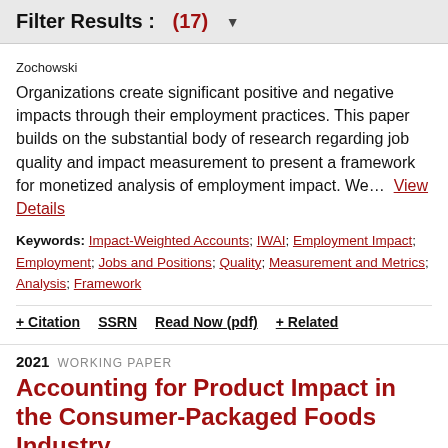Filter Results : (17)
Zochowski
Organizations create significant positive and negative impacts through their employment practices. This paper builds on the substantial body of research regarding job quality and impact measurement to present a framework for monetized analysis of employment impact. We...  View Details
Keywords: Impact-Weighted Accounts; IWAI; Employment Impact; Employment; Jobs and Positions; Quality; Measurement and Metrics; Analysis; Framework
+ Citation   SSRN   Read Now (pdf)   + Related
2021  WORKING PAPER
Accounting for Product Impact in the Consumer-Packaged Foods Industry
By: Amanda Rischbioth, George Serafeim and Katie Trinh